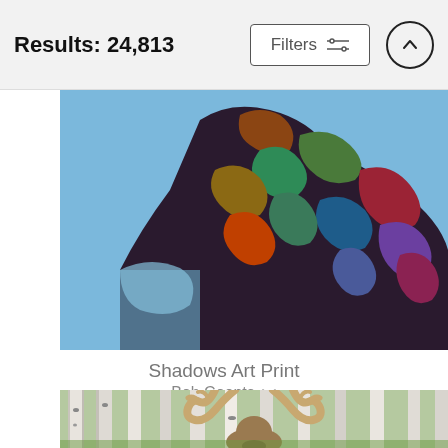Results: 24,813
Filters
[Figure (illustration): Abstract colorful art print showing a bear or large animal made of vibrant, multi-colored painted brush strokes against a blue sky background — 'Shadows Art Print' by Bob Coonts]
Shadows Art Print
Bob Coonts
$43 (strikethrough, original price)
$34
[Figure (photo): Photograph of a moose with large antlers standing in a birch/aspen forest with green grass and white tree trunks visible in the background]